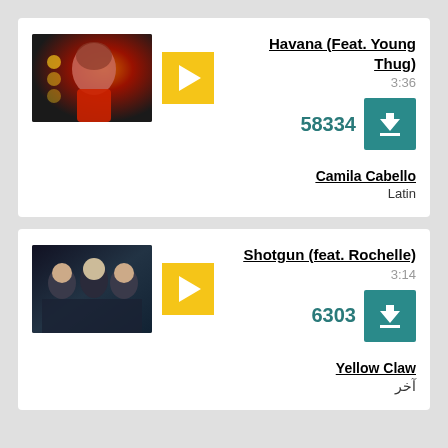[Figure (photo): Thumbnail of Camila Cabello in red outfit]
Havana (Feat. Young Thug)
3:36
58334
Camila Cabello
Latin
[Figure (photo): Thumbnail of Yellow Claw band members]
Shotgun (feat. Rochelle)
3:14
6303
Yellow Claw
آخر